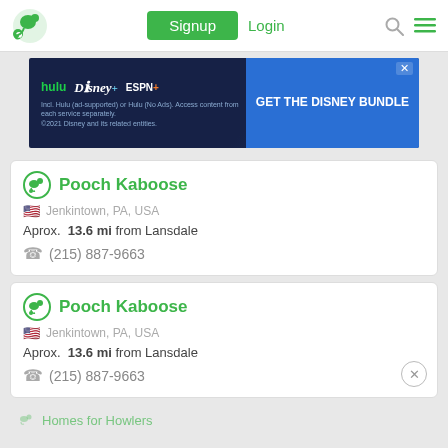Signup | Login
[Figure (screenshot): Disney Bundle advertisement banner: Hulu, Disney+, ESPN+ - GET THE DISNEY BUNDLE]
Pooch Kaboose
Jenkintown, PA, USA
Aprox. 13.6 mi from Lansdale
(215) 887-9663
Pooch Kaboose
Jenkintown, PA, USA
Aprox. 13.6 mi from Lansdale
(215) 887-9663
Homes for Howlers